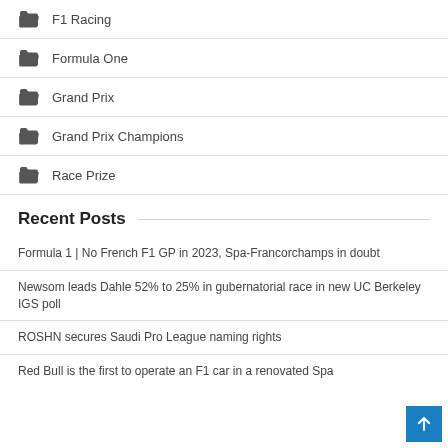F1 Racing
Formula One
Grand Prix
Grand Prix Champions
Race Prize
Recent Posts
Formula 1 | No French F1 GP in 2023, Spa-Francorchamps in doubt
Newsom leads Dahle 52% to 25% in gubernatorial race in new UC Berkeley IGS poll
ROSHN secures Saudi Pro League naming rights
Red Bull is the first to operate an F1 car in a renovated Spa